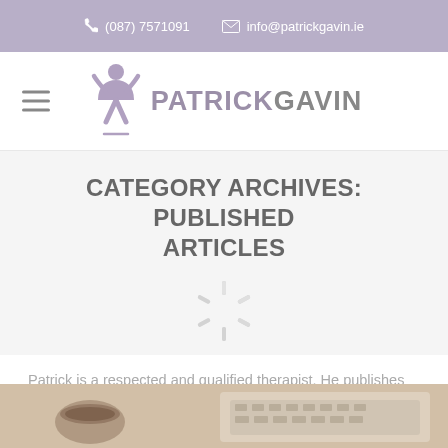(087) 7571091   info@patrickgavin.ie
[Figure (logo): Patrick Gavin logo with stylized human figure and text PATRICKGAVIN]
CATEGORY ARCHIVES: PUBLISHED ARTICLES
[Figure (other): Loading spinner icon]
Patrick is a respected and qualified therapist. He publishes monthly articles in the Westmeath Examiner. Have a look through some of his articles here.
[Figure (photo): Partial photo showing coffee cup and laptop keyboard]